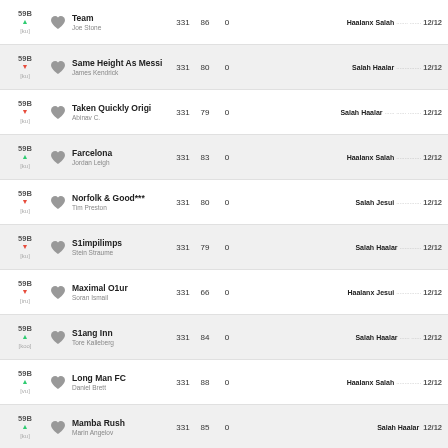59B ▲ Team / Joe Stone / 331 86 0 / Haalanx Salah ... 12/12
59B ▼ Same Height As Messi / James Kendrick / 331 80 0 / Salah Haalar ... 12/12
59B ▼ Taken Quickly Origi / Abinav C. / 331 79 0 / Salah Haalar ... 12/12
59B ▲ Farcelona / Jordan Leigh / 331 83 0 / Haalanx Salah ... 12/12
59B ▼ Norfolk & Good*** / Tim Preston / 331 80 0 / Salah Jesui ... 12/12
59B ▼ S1impilimps / Stein Straume / 331 79 0 / Salah Haalar ... 12/12
59B ▼ Maximal O1ur / Soran Ismail / 331 66 0 / Haalanx Jesui ... 12/12
59B ▲ S1ang Inn / Tore Kalleberg / 331 84 0 / Salah Haalar ... 12/12
59B ▲ Long Man FC / Daniel Brett / 331 88 0 / Haalanx Salah ... 12/12
59B ▲ Mamba Rush / Marin Angelov / 331 85 0 / Salah Haalar 12/12
59B ▲ Skeye / Peter Kouwenberg / 331 82 0 / Haalanx Salah ... 12/12
59B ▲ Teamname / 331 81 0 / Salah Jesui ... 12/12